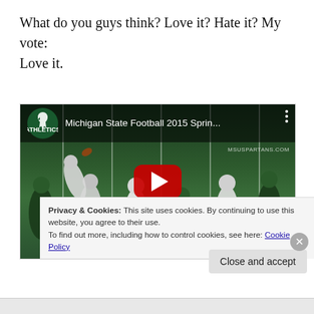What do you guys think? Love it? Hate it? My vote: Love it.
[Figure (screenshot): YouTube video thumbnail showing Michigan State Football 2015 Spring game, with MSU Athletics logo and red play button overlay. Football players on green field visible.]
Privacy & Cookies: This site uses cookies. By continuing to use this website, you agree to their use.
To find out more, including how to control cookies, see here: Cookie Policy